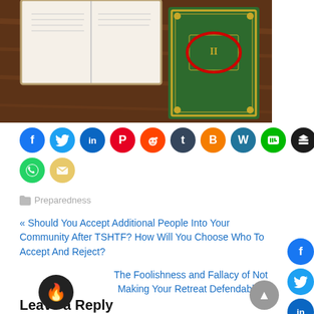[Figure (photo): Photo of an open book and a green hardcover book with gold decorative border on a wooden table. The green book has a red oval circle drawn around text on its cover.]
[Figure (infographic): Row of social media sharing icons: Facebook, Twitter, LinkedIn, Pinterest, Reddit, Tumblr, Blogger, WordPress, LINE, Buffer, WhatsApp, Email]
Preparedness
« Should You Accept Additional People Into Your Community After TSHTF? How Will You Choose Who To Accept And Reject?
The Foolishness and Fallacy of Not Making Your Retreat Defendable »
Leave a Reply